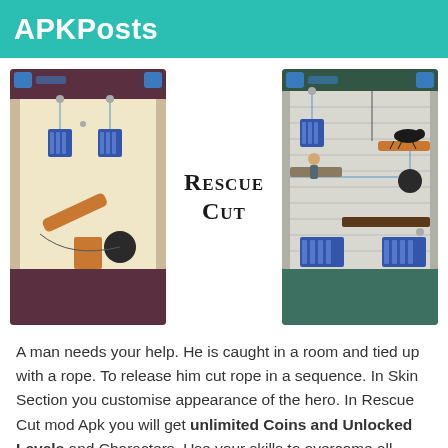APKPosts
[Figure (screenshot): Two Rescue Cut game screenshots showing puzzle levels with ropes, characters, and obstacles. Left screenshot has dark purple/brown room background with dangling cages and a log. Right screenshot has teal/green room background with a dog, character on platform, and cages.]
Rescue Cut
A man needs your help. He is caught in a room and tied up with a rope. To release him cut rope in a sequence. In Skin Section you customise appearance of the hero. In Rescue Cut mod Apk you will get unlimited Coins and Unlocked Levels and Characters. Use your skills to overcome all challenges and get